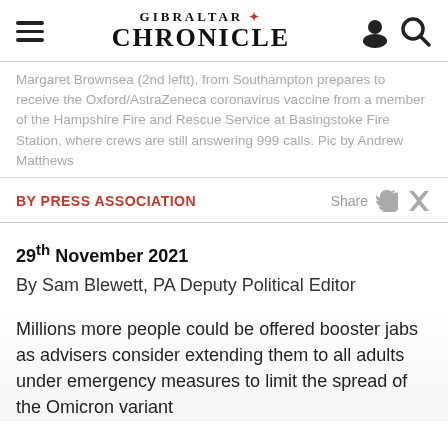GIBRALTAR CHRONICLE
Margaret Brownsea (2nd leftt), from Southampton prepares to receive the Oxford/AstraZeneca coronavirus vaccine from a member of the Hampshire Fire and Rescue Service at Basingstoke Fire Station, where crews are still answering 999 calls. Pic by Andrew Matthews
BY PRESS ASSOCIATION
Share
29th November 2021
By Sam Blewett, PA Deputy Political Editor
Millions more people could be offered booster jabs as advisers consider extending them to all adults under emergency measures to limit the spread of the Omicron variant